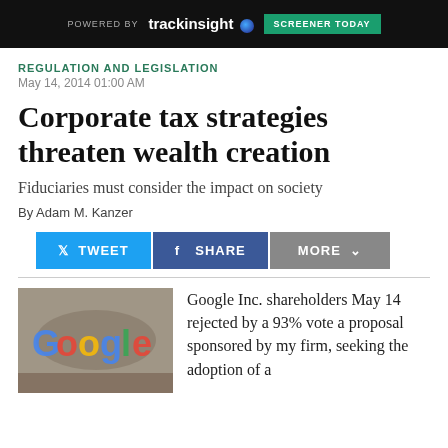[Figure (other): Advertisement banner: dark background with 'POWERED BY trackinsight' logo and 'SCREENER TODAY' green button]
REGULATION AND LEGISLATION
May 14, 2014 01:00 AM
Corporate tax strategies threaten wealth creation
Fiduciaries must consider the impact on society
By Adam M. Kanzer
[Figure (other): Social sharing buttons: TWEET (blue), SHARE (dark blue), MORE (grey with dropdown arrow)]
[Figure (photo): Photo of Google logo sign with colorful illuminated letters, people in background]
Google Inc. shareholders May 14 rejected by a 93% vote a proposal sponsored by my firm, seeking the adoption of a